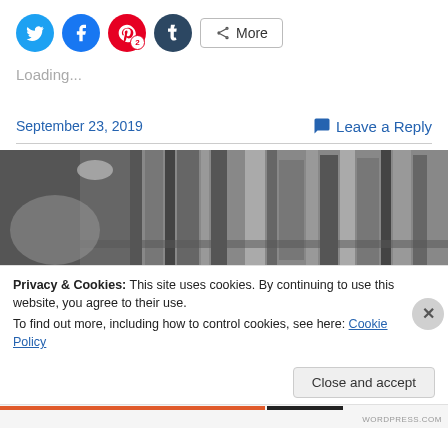[Figure (other): Social media sharing buttons: Twitter (blue), Facebook (blue), Pinterest (red with badge 2), Tumblr (dark blue), and a More button]
Loading...
September 23, 2019
Leave a Reply
[Figure (photo): Black and white photo of a person reaching for books on a library shelf]
Privacy & Cookies: This site uses cookies. By continuing to use this website, you agree to their use.
To find out more, including how to control cookies, see here: Cookie Policy
Close and accept